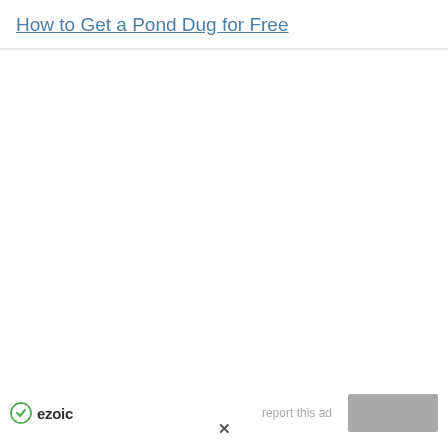How to Get a Pond Dug for Free
[Figure (other): Advertisement area (blank white space)]
ezoic  report this ad